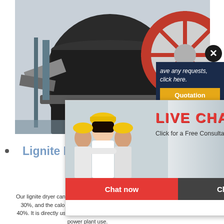[Figure (photo): Industrial machinery photo showing large rotating drum/mill equipment with a red gear wheel visible on the right side]
[Figure (photo): Live chat popup overlay with workers in yellow hard hats on left, LIVE CHAT text in red on right, Click for a Free Consultation subtitle, Chat now (red) and Chat later (dark) buttons at bottom]
[Figure (other): Sidebar panel with dark navy background showing: requests text, click here, Quotation button (gold), Enquiry, limingjlmofen@sina.com contact]
Lignite Drying And Upgrading Machine
Our lignite dryer can reduce the moisture content of lignite to 15-30%, and the calorific value of treated coal can be increased by 30-40%. It is directly used as a substitute for bituminous coal and anthracite power plant use.